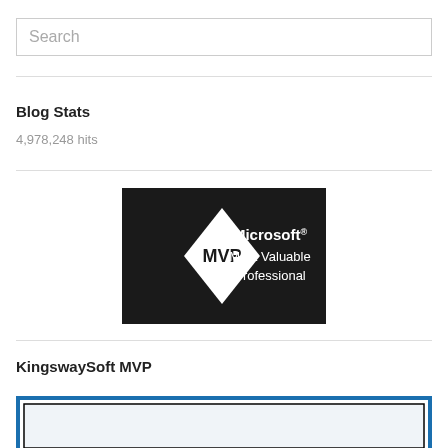Search
Blog Stats
4,978,248 hits
[Figure (logo): Microsoft MVP (Most Valuable Professional) badge — black background with white diamond shape containing 'MVP' and text 'Microsoft Most Valuable Professional']
KingswaySoft MVP
[Figure (logo): KingswaySoft MVP logo — partially visible at bottom of page, blue and white badge outline]